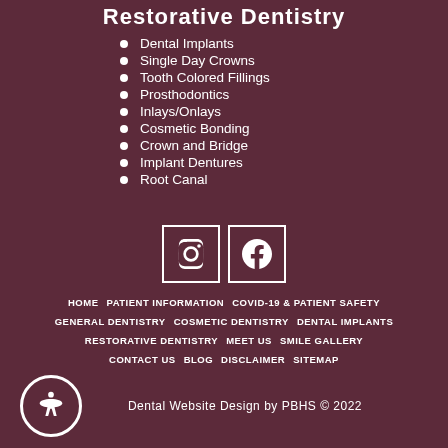Restorative Dentistry
Dental Implants
Single Day Crowns
Tooth Colored Fillings
Prosthodontics
Inlays/Onlays
Cosmetic Bonding
Crown and Bridge
Implant Dentures
Root Canal
[Figure (logo): Instagram icon (square outline with camera symbol)]
[Figure (logo): Facebook icon (square outline with f symbol)]
HOME  PATIENT INFORMATION  COVID-19 & PATIENT SAFETY  GENERAL DENTISTRY  COSMETIC DENTISTRY  DENTAL IMPLANTS  RESTORATIVE DENTISTRY  MEET US  SMILE GALLERY  CONTACT US  BLOG  DISCLAIMER  SITEMAP
Dental Website Design by PBHS © 2022